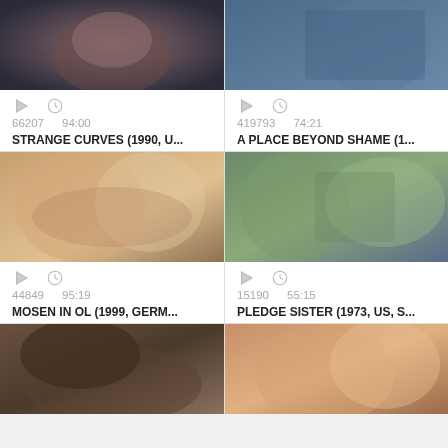[Figure (screenshot): Video thumbnail - dark toned romantic scene]
66207   94:00
STRANGE CURVES (1990, U...
[Figure (screenshot): Video thumbnail - person in blue shirt]
419793   74:21
A PLACE BEYOND SHAME (1...
[Figure (screenshot): Video thumbnail - couple kissing scene]
44849   95:19
MOSEN IN OL (1999, GERM...
[Figure (screenshot): Video thumbnail - outdoor scene with women]
15190   55:15
PLEDGE SISTER (1973, US, S...
[Figure (screenshot): Video thumbnail - outdoor hay scene]
[Figure (screenshot): Video thumbnail - woman with blonde hair]